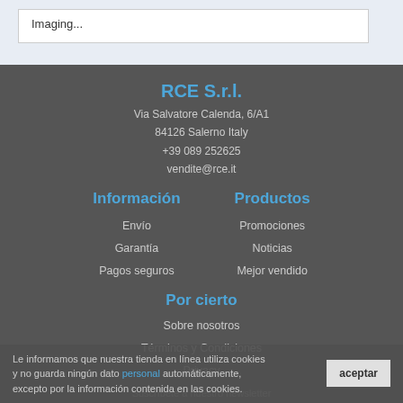Imaging...
RCE S.r.l.
Via Salvatore Calenda, 6/A1
84126 Salerno Italy
+39 089 252625
vendite@rce.it
Información
Productos
Envío
Promociones
Garantía
Noticias
Pagos seguros
Mejor vendido
Por cierto
Sobre nosotros
Términos y Condiciones
Privacy
Le informamos que nuestra tienda en línea utiliza cookies y no guarda ningún dato personal automáticamente, excepto por la información contenida en las cookies.
Suscríbete a nuestro newsletter